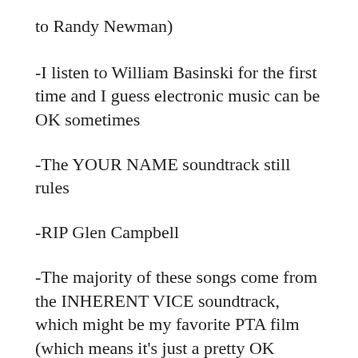to Randy Newman)
-I listen to William Basinski for the first time and I guess electronic music can be OK sometimes
-The YOUR NAME soundtrack still rules
-RIP Glen Campbell
-The majority of these songs come from the INHERENT VICE soundtrack, which might be my favorite PTA film (which means it’s just a pretty OK movie).
-Reigning Sound made one of this decade’s low-key best Americana-ish albums, and years later it still sounds great. Check out ‘Shattered’